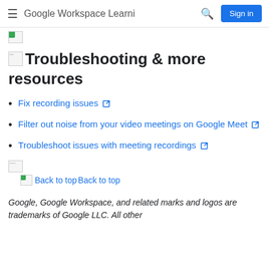Google Workspace Learni
[Figure (illustration): Small broken image icon with green corner]
Troubleshooting & more resources
Fix recording issues ↗
Filter out noise from your video meetings on Google Meet ↗
Troubleshoot issues with meeting recordings ↗
[Figure (illustration): Small broken image divider]
Back to top
Google, Google Workspace, and related marks and logos are trademarks of Google LLC. All other